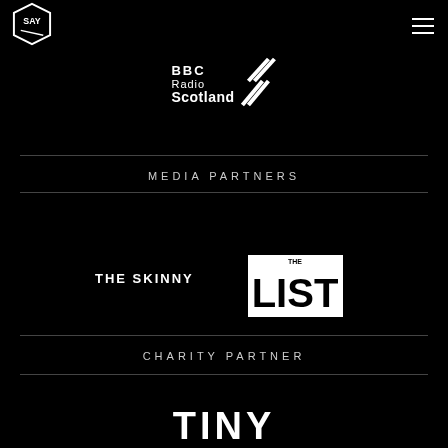[Figure (logo): SAY award hexagon logo in white on black background, top left]
[Figure (logo): Hamburger menu icon (three horizontal lines), top right]
[Figure (logo): BBC Radio Scotland logo with chevron graphic]
MEDIA PARTNERS
[Figure (logo): THE SKINNY logo in white bold text]
[Figure (logo): THE LIST logo in black and white box design]
CHARITY PARTNER
[Figure (logo): TINY logo partial at bottom of page]